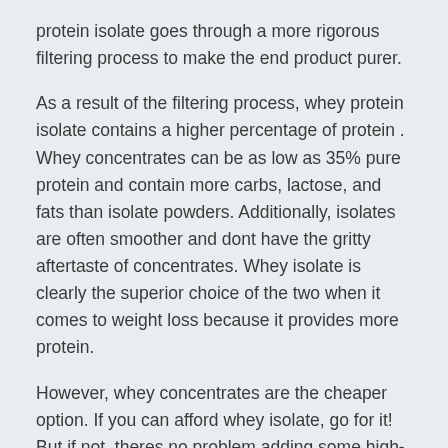protein isolate goes through a more rigorous filtering process to make the end product purer.
As a result of the filtering process, whey protein isolate contains a higher percentage of protein . Whey concentrates can be as low as 35% pure protein and contain more carbs, lactose, and fats than isolate powders. Additionally, isolates are often smoother and dont have the gritty aftertaste of concentrates. Whey isolate is clearly the superior choice of the two when it comes to weight loss because it provides more protein.
However, whey concentrates are the cheaper option. If you can afford whey isolate, go for it! But if not, theres no problem adding some high-quality whey concentrate to your diet so that you can still receive the benefits of whey protein powder.